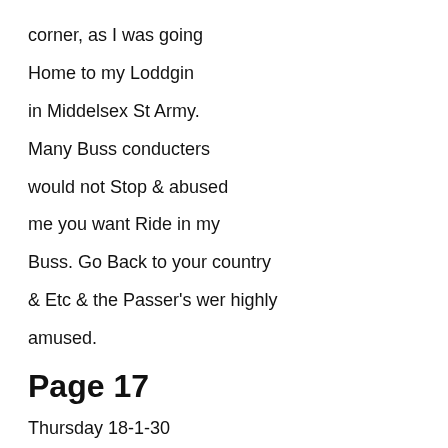corner, as I was going
Home to my Loddgin
in Middelsex St Army.
Many Buss conducters
would not Stop & abused
me you want Ride in my
Buss. Go Back to your country
& Etc & the Passer's wer highly
amused.
Page 17
Thursday 18-1-30
Stall Market at Brixton
Verry sevear Boycott by Stall